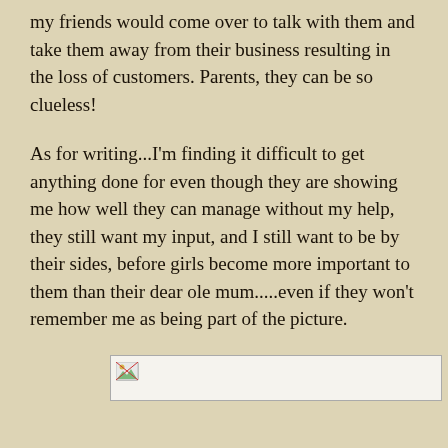my friends would come over to talk with them and take them away from their business resulting in the loss of customers. Parents, they can be so clueless!
As for writing...I'm finding it difficult to get anything done for even though they are showing me how well they can manage without my help, they still want my input, and I still want to be by their sides, before girls become more important to them than their dear ole mum.....even if they won't remember me as being part of the picture.
[Figure (other): A broken/missing image placeholder icon with a wide rectangular border]